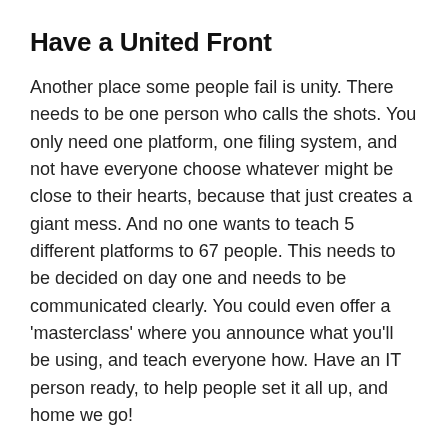Have a United Front
Another place some people fail is unity. There needs to be one person who calls the shots. You only need one platform, one filing system, and not have everyone choose whatever might be close to their hearts, because that just creates a giant mess. And no one wants to teach 5 different platforms to 67 people. This needs to be decided on day one and needs to be communicated clearly. You could even offer a ‘masterclass’ where you announce what you’ll be using, and teach everyone how. Have an IT person ready, to help people set it all up, and home we go!
This is Hard
Recalculating, readjusting the entire company will be hard for you, and hard for the team. This entire situation